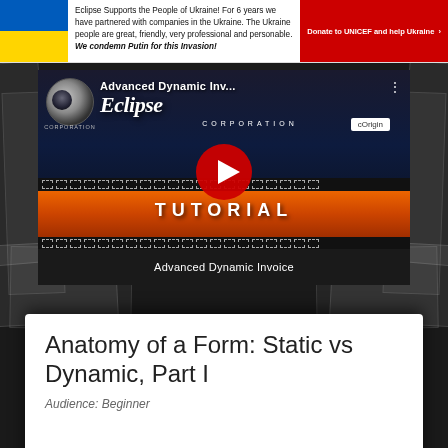Eclipse Supports the People of Ukraine! For 6 years we have partnered with companies in the Ukraine. The Ukraine people are great, friendly, very professional and personable. We condemn Putin for this Invasion! Donate to UNICEF and help Ukraine ›
[Figure (screenshot): YouTube video thumbnail for 'Advanced Dynamic Invoice' tutorial by Eclipse Corporation, showing Eclipse logo, moon graphic, film strip with orange gradient, play button, and text 'TUTORIAL'. Caption reads 'Advanced Dynamic Invoice'.]
Anatomy of a Form: Static vs Dynamic, Part I
Audience: Beginner